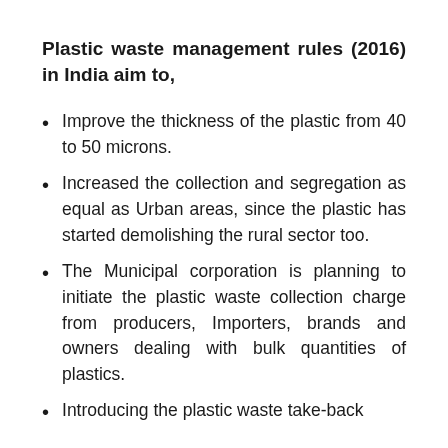Plastic waste management rules (2016) in India aim to,
Improve the thickness of the plastic from 40 to 50 microns.
Increased the collection and segregation as equal as Urban areas, since the plastic has started demolishing the rural sector too.
The Municipal corporation is planning to initiate the plastic waste collection charge from producers, Importers, brands and owners dealing with bulk quantities of plastics.
Introducing the plastic waste take-back